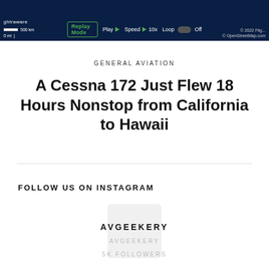[Figure (screenshot): Map replay toolbar with dark blue background showing scale bar, Replay Mode button, Play button, Speed 10x control, and Loop Off toggle. Top bar of a flight tracking application (flightraware).]
GENERAL AVIATION
A Cessna 172 Just Flew 18 Hours Nonstop from California to Hawaii
FOLLOW US ON INSTAGRAM
AVGEEKERY
AVGEEKERY
5K FOLLOWERS